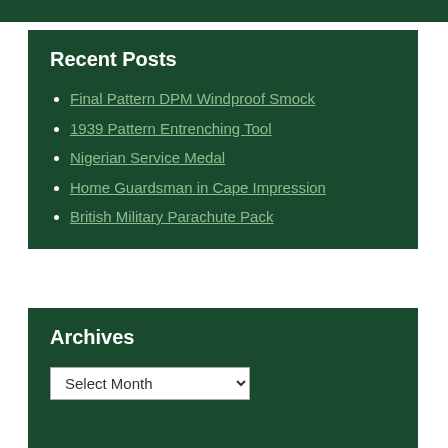Recent Posts
Final Pattern DPM Windproof Smock
1939 Pattern Entrenching Tool
Nigerian Service Medal
Home Guardsman in Cape Impression
British Military Parachute Pack
Archives
Select Month